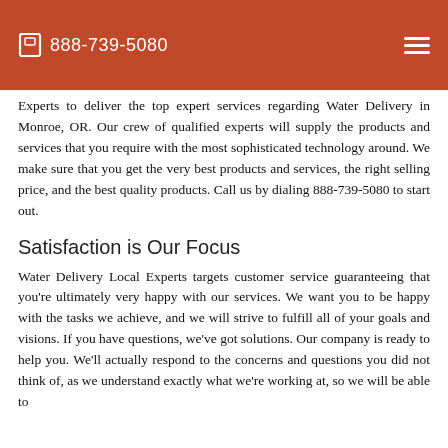📞 888-739-5080
Experts to deliver the top expert services regarding Water Delivery in Monroe, OR. Our crew of qualified experts will supply the products and services that you require with the most sophisticated technology around. We make sure that you get the very best products and services, the right selling price, and the best quality products. Call us by dialing 888-739-5080 to start out.
Satisfaction is Our Focus
Water Delivery Local Experts targets customer service guaranteeing that you're ultimately very happy with our services. We want you to be happy with the tasks we achieve, and we will strive to fulfill all of your goals and visions. If you have questions, we've got solutions. Our company is ready to help you. We'll actually respond to the concerns and questions you did not think of, as we understand exactly what we're working at, so we will be able to